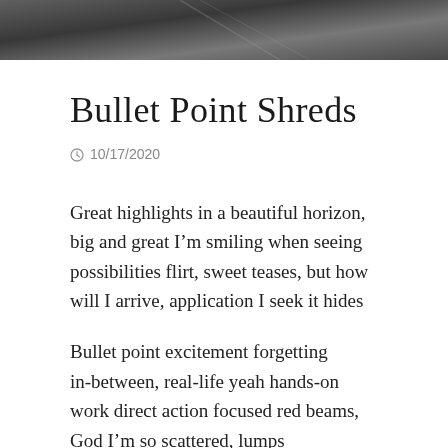[Figure (photo): Dark gray textured banner/header image at the top of the page, appearing to show a blurred angled surface or background]
Bullet Point Shreds
10/17/2020
Great highlights in a beautiful horizon, big and great I’m smiling when seeing possibilities flirt, sweet teases, but how will I arrive, application I seek it hides
Bullet point excitement forgetting in-between, real-life yeah hands-on work direct action focused red beams, God I’m so scattered, lumps